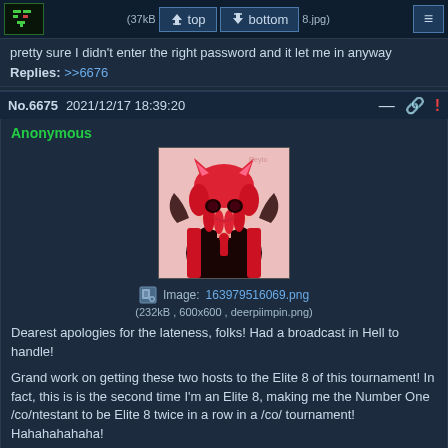(37kB ... 8.jpg) | top | bottom | ≡
pretty sure I didn't enter the right password and it let me in anyway
Replies: >>6676
No.6675  2021/12/17 18:39:20
Anonymous
[Figure (illustration): Anime-style illustration of a character with red/pink hair, cat ears, dark outfit with red accents, smiling/grinning expression against a light pink background. Signed 'Reyto' or similar in top right.]
Image: 163979516069.png
(232kB , 600x600 , deerpiimpin.png)
Dearest apologies for the lateness, folks! Had a broadcast in Hell to handle!
Grand work on getting these two hosts to the Elite 8 of this tournament! In fact, this is is the second time I'm an Elite 8, making me the Number One /co/ntestant to be Elite 8 twice in a row in a /co/ tournament! Hahahahahaha!
► >>6669
You're not angry with me, are you Monarch?

Did you AT LEAST try my stupendous cajun jambalaya?